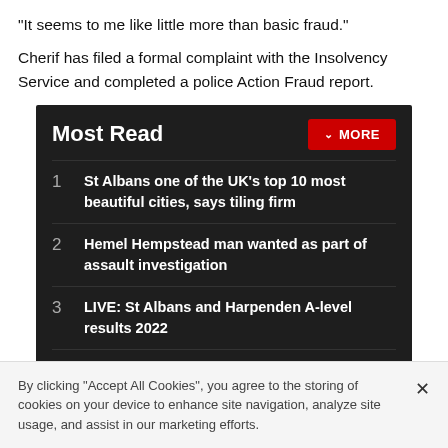“It seems to me like little more than basic fraud.”
Cherif has filed a formal complaint with the Insolvency Service and completed a police Action Fraud report.
Most Read
1 St Albans one of the UK’s top 10 most beautiful cities, says tiling firm
2 Hemel Hempstead man wanted as part of assault investigation
3 LIVE: St Albans and Harpenden A-level results 2022
Receive the top news, sport and things to do, sent to your inbox every Thursday
By clicking “Accept All Cookies”, you agree to the storing of cookies on your device to enhance site navigation, analyze site usage, and assist in our marketing efforts.